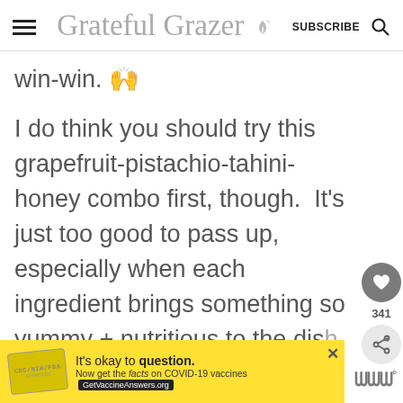Grateful Grazer — SUBSCRIBE
win-win. 🙌
I do think you should try this grapefruit-pistachio-tahini-honey combo first, though.  It's just too good to pass up, especially when each ingredient brings something so yummy + nutritious to the dish
[Figure (screenshot): COVID-19 vaccine advertisement banner: 'It's okay to question. Now get the facts on COVID-19 vaccines. GetVaccineAnswers.org']